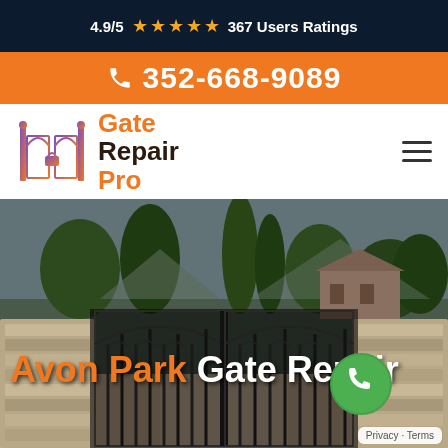4.9/5 ★★★★★ 367 Users Ratings
352-668-9089
[Figure (logo): Gate Repair Pro logo with ornate gate icon and text]
Avon Park Gate Repair
[Figure (photo): Decorative wrought iron double gate with stone pillars and greenery in background]
Privacy · Terms